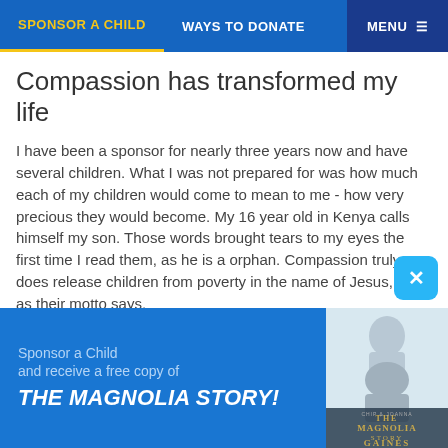SPONSOR A CHILD   WAYS TO DONATE   MENU
Compassion has transformed my life
I have been a sponsor for nearly three years now and have several children. What I was not prepared for was how much each of my children would come to mean to me - how very precious they would become. My 16 year old in Kenya calls himself my son. Those words brought tears to my eyes the first time I read them, as he is a orphan. Compassion truly does release children from poverty in the name of Jesus, just as their motto says.
Sponsor a Child
and receive a free copy of
THE MAGNOLIA STORY!
[Figure (photo): Book cover of The Magnolia Story by Chip and Joanna Gaines showing a couple embracing]